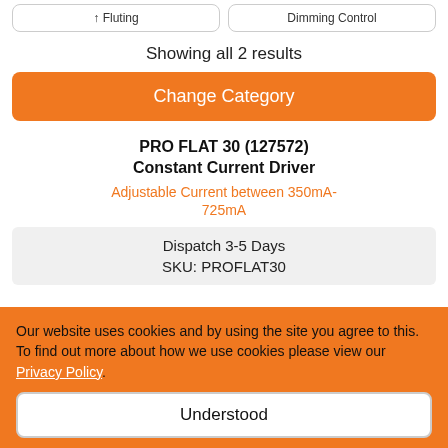Showing all 2 results
Change Category
PRO FLAT 30 (127572) Constant Current Driver
Adjustable Current between 350mA-725mA
Dispatch 3-5 Days
SKU: PROFLAT30
Our website uses cookies and by using the site you agree to this. To find out more about how we use cookies please view our Privacy Policy.
Understood